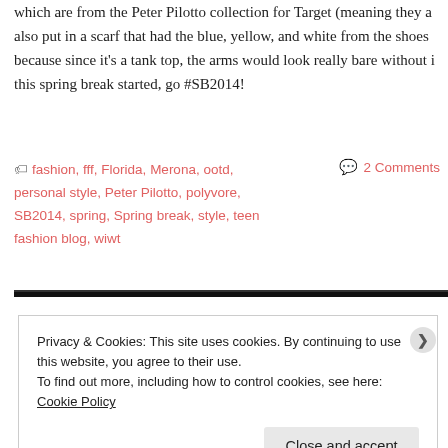which are from the Peter Pilotto collection for Target (meaning they a also put in a scarf that had the blue, yellow, and white from the shoes because since it's a tank top, the arms would look really bare without i this spring break started, go #SB2014!
fashion, fff, Florida, Merona, ootd, personal style, Peter Pilotto, polyvore, SB2014, spring, Spring break, style, teen fashion blog, wiwt
2 Comments
Privacy & Cookies: This site uses cookies. By continuing to use this website, you agree to their use.
To find out more, including how to control cookies, see here: Cookie Policy